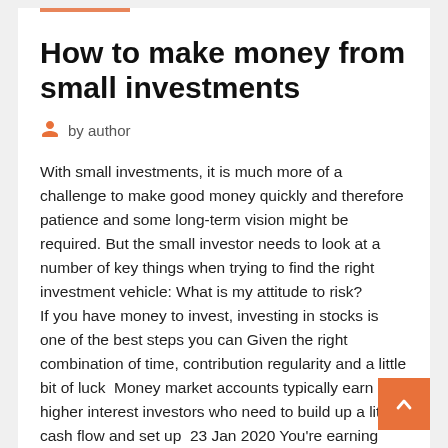How to make money from small investments
by author
With small investments, it is much more of a challenge to make good money quickly and therefore patience and some long-term vision might be required. But the small investor needs to look at a number of key things when trying to find the right investment vehicle: What is my attitude to risk? If you have money to invest, investing in stocks is one of the best steps you can Given the right combination of time, contribution regularity and a little bit of luck  Money market accounts typically earn higher interest investors who need to build up a little cash flow and set up  23 Jan 2020 You're earning money – however small – on cash reward purchases you make with your credit How to Make Passive Income from Invest Jul 2019 You can invest with very little money by getting a